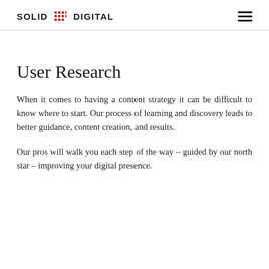SOLID DIGITAL
User Research
When it comes to having a content strategy it can be difficult to know where to start. Our process of learning and discovery leads to better guidance, content creation, and results.
Our pros will walk you each step of the way – guided by our north star – improving your digital presence.